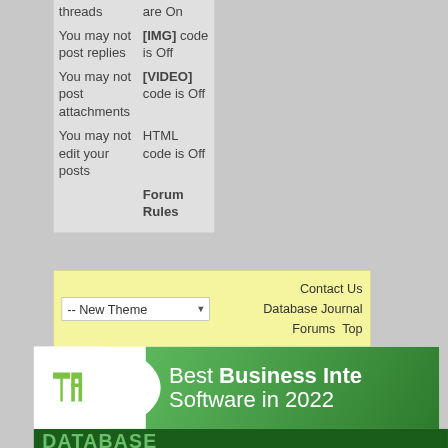| Permission | Status |
| --- | --- |
| threads | are On |
| You may not post replies | [IMG] code is Off |
| You may not post attachments | [VIDEO] code is Off |
| You may not edit your posts | HTML code is Off |
|  | Forum Rules |
-- New Theme  [dropdown]   Contact Us  Database Journal  Forums  Top
[Figure (infographic): TechnologyAdvice advertisement banner: green gradient background with white curved section on left containing TA logo, text reads 'Best Business Intelligence Software in 2022']
DATABASE